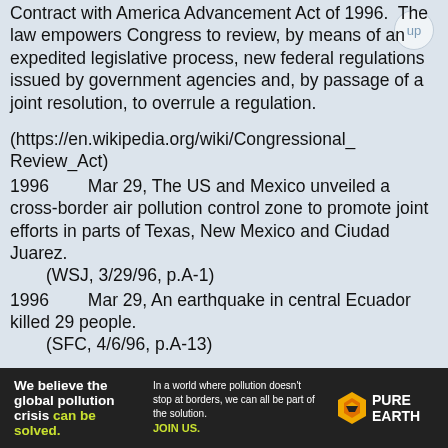Contract with America Advancement Act of 1996. The law empowers Congress to review, by means of an expedited legislative process, new federal regulations issued by government agencies and, by passage of a joint resolution, to overrule a regulation.
(https://en.wikipedia.org/wiki/Congressional_Review_Act)
1996        Mar 29, The US and Mexico unveiled a cross-border air pollution control zone to promote joint efforts in parts of Texas, New Mexico and Ciudad Juarez.
    (WSJ, 3/29/96, p.A-1)
1996        Mar 29, An earthquake in central Ecuador killed 29 people.
    (SFC, 4/6/96, p.A-13)
1996        Mar 30, In the NCAA basketball finals, Kentucky beat Syracuse, 76-67.
    (WSJ, 4/3/96, p.A-20)
1996        Mar 30 The space shuttle Atlantis narrowly avoided having to make an
[Figure (infographic): Pure Earth advertisement banner: 'We believe the global pollution crisis can be solved.' with Pure Earth logo]